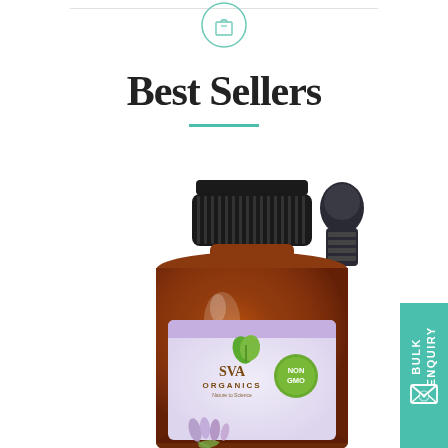[Figure (logo): Shopping bag icon outline in teal/green circle at top center]
Best Sellers
[Figure (photo): SVA Organics amber glass bottle with lavender essential oil label (purple/lavender colored label with SVA Organics branding, Non-GMO badge, green leaf logo, and lavender flowers at bottom), accompanied by a glass dropper pipette to the right]
[Figure (other): Green teal tab on right side reading BULK ENQUIRY with envelope icon]